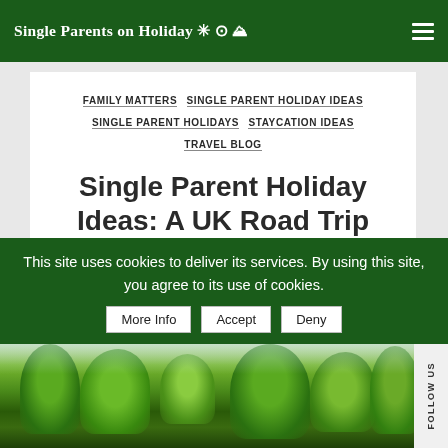Single Parents on Holiday
FAMILY MATTERS
SINGLE PARENT HOLIDAY IDEAS
SINGLE PARENT HOLIDAYS
STAYCATION IDEAS
TRAVEL BLOG
Single Parent Holiday Ideas: A UK Road Trip
This site uses cookies to deliver its services. By using this site, you agree to its use of cookies.
More Info | Accept | Deny
[Figure (photo): Green trees and forest scenery for UK road trip article]